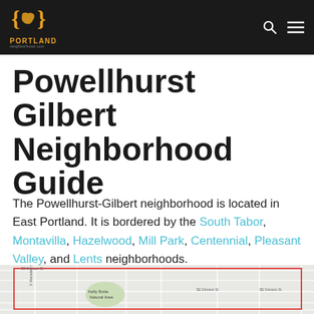Portland Neighborhood .com
Powellhurst Gilbert Neighborhood Guide
The Powellhurst-Gilbert neighborhood is located in East Portland. It is bordered by the South Tabor, Montavilla, Hazelwood, Mill Park, Centennial, Pleasant Valley, and Lents neighborhoods.
[Figure (map): Street map showing the Powellhurst-Gilbert neighborhood boundary with Kelly Butte Natural Area visible, SE Division St labeled, streets in a grid pattern with a red boundary outline.]